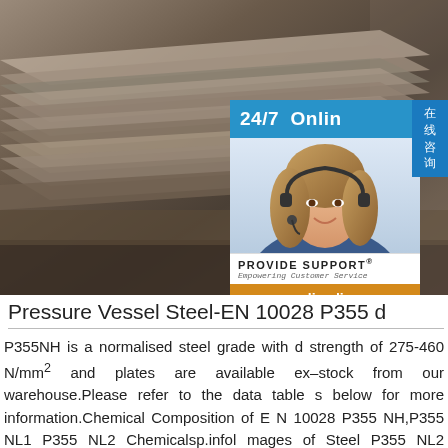[Figure (photo): Stack of steel plates/sheets photographed in a warehouse or industrial setting, dark metallic tones, with a 24/7 online customer service chat widget overlay showing a female agent with headset and 'PROVIDE SUPPORT Empowering Customer Service' branding and 'online live' button]
Pressure Vessel Steel-EN 10028 P355 d
P355NH is a normalised steel grade with d strength of 275-460 N/mm² and plates are available ex–stock from our warehouse.Please refer to the data tables below for more information.Chemical Composition of EN 10028 P355 NH,P355 NL1 P355 NL2 Chemicalsp.infomages of Steel P355 NL2 imagesP355NL2,EN10028-3 Grade P355NL2 P355 NL2 STEEL PLATE EN10028 steel